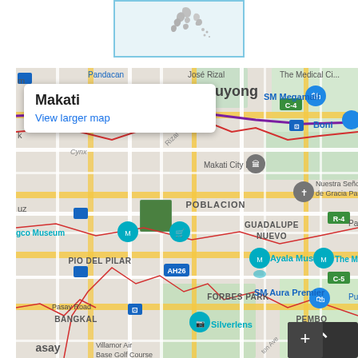[Figure (map): Small thumbnail map of Philippines archipelago with blue border]
[Figure (map): Google Maps screenshot showing Makati area in Metro Manila, Philippines. Shows neighborhoods Mandaluyong, Poblacion, Guadalupe Nuevo, Pio Del Pilar, Bangkal, Forbes Park, Pembo. Landmarks include SM Megamall, Makati City Hall, Boni, Nuestra Señora de Gracia Parish, Ayala Museum, The Mind Museum, SM Aura Premier, Silverlens, Venice, Villamor Air Base Golf Course. Roads include R-4, C-4, C-5, AH26, Pasay Road. A white popup box shows 'Makati' and 'View larger map'.]